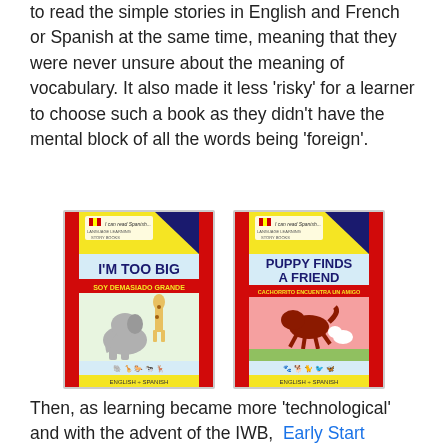in Spanish. These bilingual books allowed learners to read the simple stories in English and French or Spanish at the same time, meaning that they were never unsure about the meaning of vocabulary. It also made it less 'risky' for a learner to choose such a book as they didn't have the mental block of all the words being 'foreign'.
[Figure (photo): Two bilingual children's book covers: 'I'M TOO BIG / SOY DEMASIADO GRANDE' and 'PUPPY FINDS A FRIEND / CACHORRITO ENCUENTRA UN AMIGO', both from the 'I can read Spanish' series, English + Spanish editions.]
Then, as learning became more 'technological' and with the advent of the IWB,  Early Start began to market the books as Big Books on CD Rom, offering